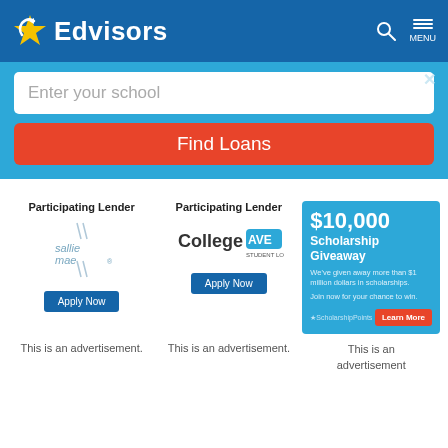Edvisors
Enter your school
Find Loans
Participating Lender
[Figure (logo): Sallie Mae logo with decorative lines]
Apply Now
Participating Lender
[Figure (logo): College Ave Student Loans logo]
Apply Now
[Figure (infographic): $10,000 Scholarship Giveaway ad — We've given away more than $1 million dollars in scholarships. Join now for your chance to win. ScholarshipPoints. Learn More button.]
This is an advertisement.
This is an advertisement.
This is an advertisement